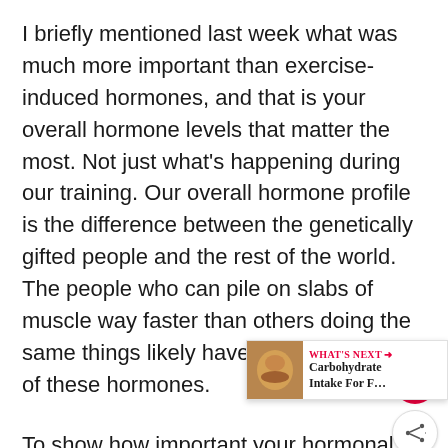I briefly mentioned last week what was much more important than exercise-induced hormones, and that is your overall hormone levels that matter the most. Not just what's happening during our training. Our overall hormone profile is the difference between the genetically gifted people and the rest of the world. The people who can pile on slabs of muscle way faster than others doing the same things likely have very high levels of these hormones.
To show how important your hormonal profile is, there was a study done that showed in 10 weeks people who took 600 mg of testosterone but did NO weight training whatsoever gained on average [X] pounds of muscle. To put that into perspective there